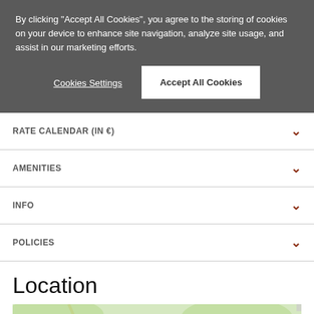By clicking "Accept All Cookies", you agree to the storing of cookies on your device to enhance site navigation, analyze site usage, and assist in our marketing efforts.
Cookies Settings
Accept All Cookies
RATE CALENDAR (IN €)
AMENITIES
INFO
POLICIES
Location
[Figure (map): Map showing Genoa and Rapallo area in Italy with an orange location marker near Rapallo.]